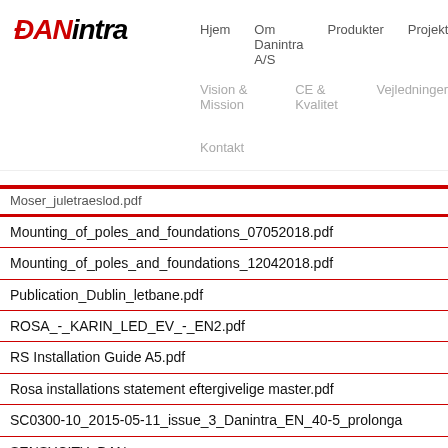[Figure (logo): DANintra logo with DAN in red italic and intra in black italic bold]
Hjem  Om Danintra A/S  Produkter  Projekter
Vision & Mission  CE & Kvalitet  Vejledninger
Kontakt
Moser_juletraeslod.pdf
Mounting_of_poles_and_foundations_07052018.pdf
Mounting_of_poles_and_foundations_12042018.pdf
Publication_Dublin_letbane.pdf
ROSA_-_KARIN_LED_EV_-_EN2.pdf
RS Installation Guide A5.pdf
Rosa installations statement eftergivelige master.pdf
SC0300-10_2015-05-11_issue_3_Danintra_EN_40-5_prolonga
SENSYCITY_DAN...